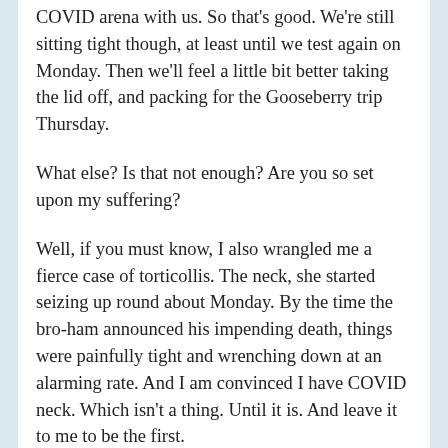COVID arena with us. So that's good. We're still sitting tight though, at least until we test again on Monday. Then we'll feel a little bit better taking the lid off, and packing for the Gooseberry trip Thursday.
What else? Is that not enough? Are you so set upon my suffering?
Well, if you must know, I also wrangled me a fierce case of torticollis. The neck, she started seizing up round about Monday. By the time the bro-ham announced his impending death, things were painfully tight and wrenching down at an alarming rate. And I am convinced I have COVID neck. Which isn't a thing. Until it is. And leave it to me to be the first.
Not COVID, but not over, either. Friday night the ratcheting of the strap that apparently connects my